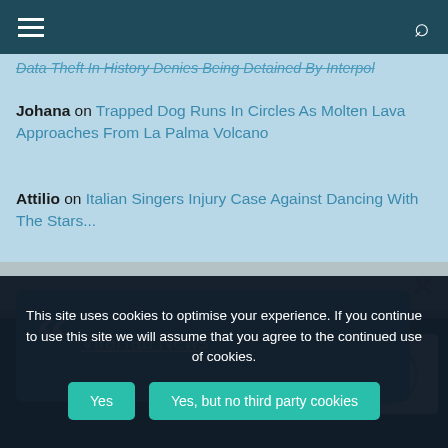Navigation bar with hamburger menu and search icon
Data Theft In History Denies Being Detained By Interpol
Johana on Trapped Dog Runs In Circles As Molten Lava Approaches From La Palma Volcano
Attilio on Italian Singers Injury Case Against Dancing With The Stars...
[Figure (screenshot): Blue quote box popup with large quotation mark icon and link reading 'ViralTab News', with a close X button]
This site uses cookies to optimise your experience. If you continue to use this site we will assume that you agree to the continued use of cookies.
Copyright © 2022 ViralTab News. All rights reserved. Theme: ColorMag by ThemeGrill. Powered by WordPress.